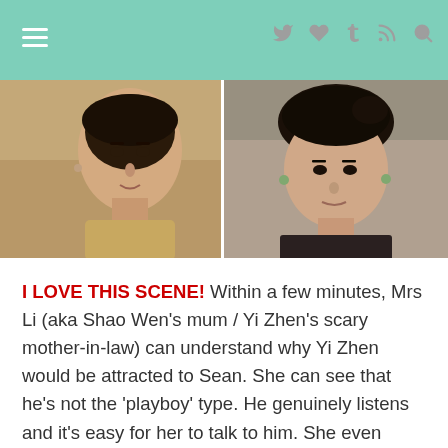Navigation bar with hamburger menu and social icons
[Figure (photo): Two side-by-side screenshots from a TV drama: left shows a young Asian man, right shows a middle-aged Asian woman]
I LOVE THIS SCENE! Within a few minutes, Mrs Li (aka Shao Wen's mum / Yi Zhen's scary mother-in-law) can understand why Yi Zhen would be attracted to Sean. She can see that he's not the 'playboy' type. He genuinely listens and it's easy for her to talk to him. She even makes the off-hand comment that she has talked more with him than with her husband in a whole month. If there's anyone in the world who TRULY understands what Yi Zhen is going through, that person is Mrs Li. She has a Master's degree and wanted to continue studying. But because of her marriage and